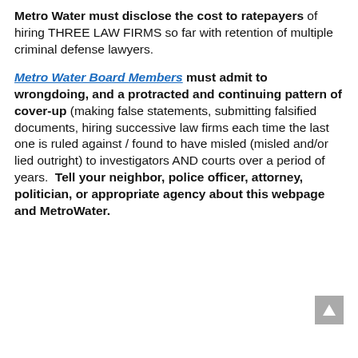Metro Water must disclose the cost to ratepayers of hiring THREE LAW FIRMS so far with retention of multiple criminal defense lawyers.
Metro Water Board Members must admit to wrongdoing, and a protracted and continuing pattern of cover-up (making false statements, submitting falsified documents, hiring successive law firms each time the last one is ruled against / found to have misled (misled and/or lied outright) to investigators AND courts over a period of years.  Tell your neighbor, police officer, attorney, politician, or appropriate agency about this webpage and MetroWater.